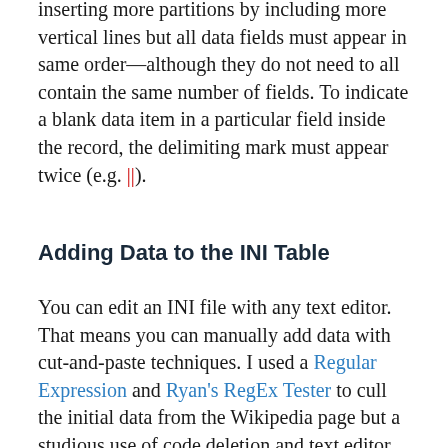inserting more partitions by including more vertical lines but all data fields must appear in same order—although they do not need to all contain the same number of fields. To indicate a blank data item in a particular field inside the record, the delimiting mark must appear twice (e.g. ||).
Adding Data to the INI Table
You can edit an INI file with any text editor. That means you can manually add data with cut-and-paste techniques. I used a Regular Expression and Ryan's RegEx Tester to cull the initial data from the Wikipedia page but a studious use of code deletion and text editor search-and-replace techniques with the Web